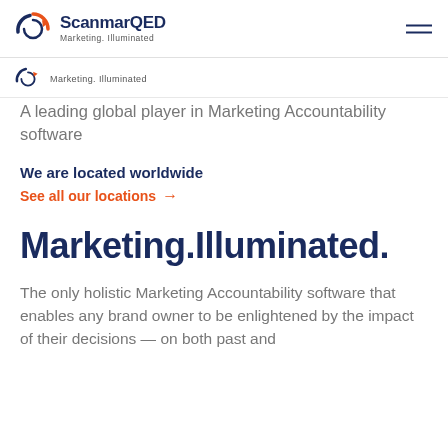ScanmarQED Marketing.Illuminated
[Figure (logo): ScanmarQED logo with circular swirl icon and tagline Marketing.Illuminated — partial scrolled repeat below nav bar]
A leading global player in Marketing Accountability software
We are located worldwide
See all our locations →
Marketing.Illuminated.
The only holistic Marketing Accountability software that enables any brand owner to be enlightened by the impact of their decisions — on both past and